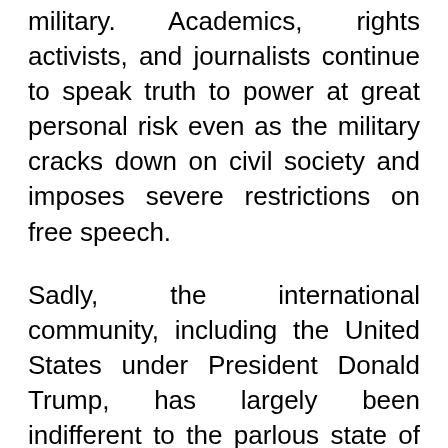military. Academics, rights activists, and journalists continue to speak truth to power at great personal risk even as the military cracks down on civil society and imposes severe restrictions on free speech.
Sadly, the international community, including the United States under President Donald Trump, has largely been indifferent to the parlous state of democracy in Pakistan and failed to put pressure on the military. President-elect Joe Biden's stated commitment to promoting democracy and human rights at least offers the hope that his administration will be less tolerant of